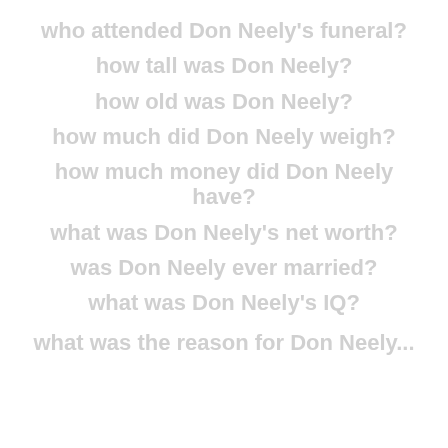who attended Don Neely's funeral?
how tall was Don Neely?
how old was Don Neely?
how much did Don Neely weigh?
how much money did Don Neely have?
what was Don Neely's net worth?
was Don Neely ever married?
what was Don Neely's IQ?
what was the reason for Don Neely's...